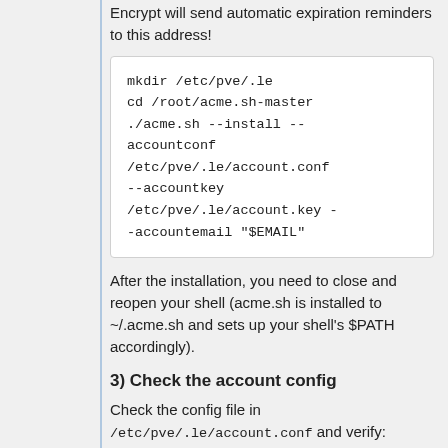Encrypt will send automatic expiration reminders to this address!
mkdir /etc/pve/.le
cd /root/acme.sh-master
./acme.sh --install --accountconf /etc/pve/.le/account.conf --accountkey /etc/pve/.le/account.key --accountemail "$EMAIL"
After the installation, you need to close and reopen your shell (acme.sh is installed to ~/.acme.sh and sets up your shell's $PATH accordingly).
3) Check the account config
Check the config file in /etc/pve/.le/account.conf and verify: